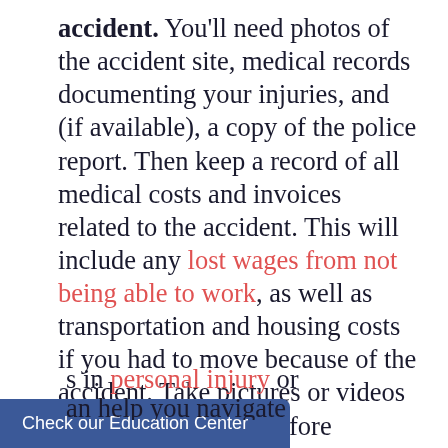accident. You'll need photos of the accident site, medical records documenting your injuries, and (if available), a copy of the police report. Then keep a record of all medical costs and invoices related to the accident. This will include any lost wages from not being able to work, as well as transportation and housing costs if you had to move because of the accident. Take pictures or videos of the accident site before anything is moved. This will help establish fault in the accident.
Get in touch with a lawyer. Finally, contact a skilled motorcycle accident lawyer in ... in personal injury or ... an help you navigate
Check our Education Center